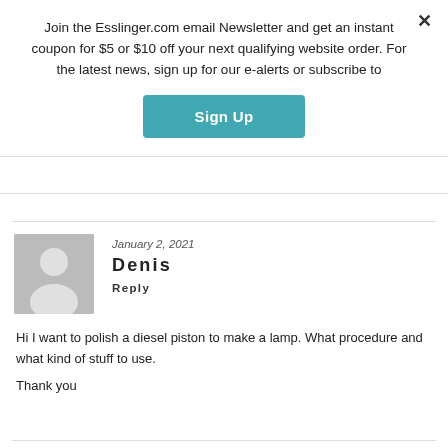Join the Esslinger.com email Newsletter and get an instant coupon for $5 or $10 off your next qualifying website order. For the latest news, sign up for our e-alerts or subscribe to
Sign Up
January 2, 2021
Denis
Reply
Hi I want to polish a diesel piston to make a lamp. What procedure and what kind of stuff to use.
Thank you